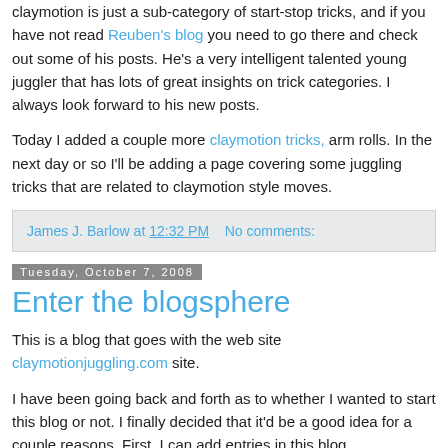claymotion is just a sub-category of start-stop tricks, and if you have not read Reuben's blog you need to go there and check out some of his posts. He's a very intelligent talented young juggler that has lots of great insights on trick categories. I always look forward to his new posts.
Today I added a couple more claymotion tricks, arm rolls. In the next day or so I'll be adding a page covering some juggling tricks that are related to claymotion style moves.
James J. Barlow at 12:32 PM   No comments:
Tuesday, October 7, 2008
Enter the blogsphere
This is a blog that goes with the web site claymotionjuggling.com site.
I have been going back and forth as to whether I wanted to start this blog or not. I finally decided that it'd be a good idea for a couple reasons. First, I can add entries in this blog